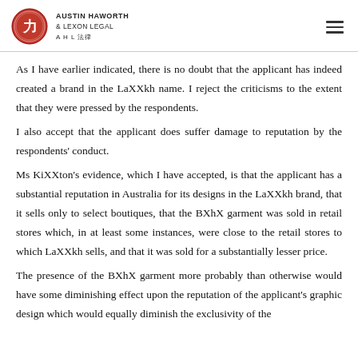AUSTIN HAWORTH & LEXON LEGAL AHL 法律
As I have earlier indicated, there is no doubt that the applicant has indeed created a brand in the LaXXkh name. I reject the criticisms to the extent that they were pressed by the respondents.
I also accept that the applicant does suffer damage to reputation by the respondents' conduct.
Ms KiXXton's evidence, which I have accepted, is that the applicant has a substantial reputation in Australia for its designs in the LaXXkh brand, that it sells only to select boutiques, that the BXhX garment was sold in retail stores which, in at least some instances, were close to the retail stores to which LaXXkh sells, and that it was sold for a substantially lesser price.
The presence of the BXhX garment more probably than otherwise would have some diminishing effect upon the reputation of the applicant's graphic design which would equally diminish the exclusivity of the